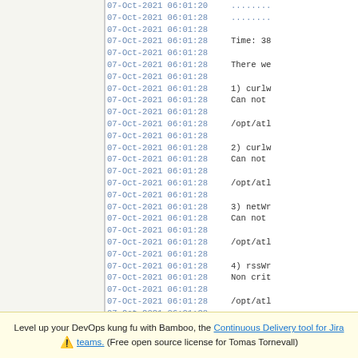[Figure (screenshot): Log output panel showing timestamped log lines from 07-Oct-2021 06:01:28 with messages about curl, network, rssWriter, simpleHTTP, and soap failures]
Level up your DevOps kung fu with Bamboo, the Continuous Delivery tool for Jira teams. (Free open source license for Tomas Tornevall)